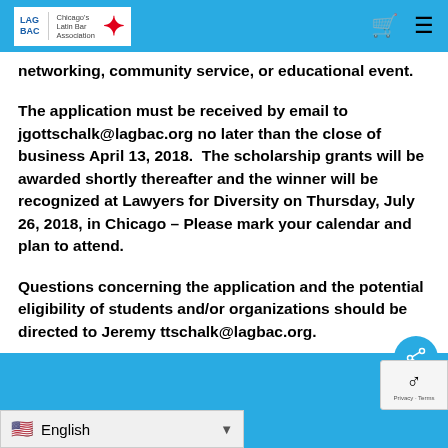LAGBAC [logo with Chicago star]
networking, community service, or educational event.
The application must be received by email to jgottschalk@lagbac.org no later than the close of business April 13, 2018.  The scholarship grants will be awarded shortly thereafter and the winner will be recognized at Lawyers for Diversity on Thursday, July 26, 2018, in Chicago – Please mark your calendar and plan to attend.
Questions concerning the application and the potential eligibility of students and/or organizations should be directed to Jeremy [...]tschalk@lagbac.org.